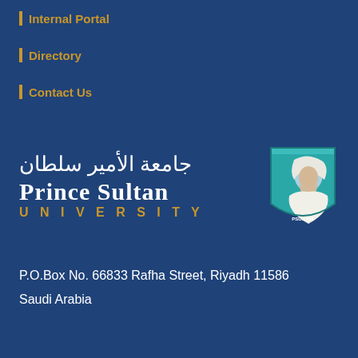Internal Portal
Directory
Contact Us
[Figure (logo): Prince Sultan University logo with Arabic text 'جامعة الأمير سلطان', English text 'PRINCE SULTAN UNIVERSITY', and a shield emblem showing a portrait with PSU.1998]
P.O.Box No. 66833 Rafha Street, Riyadh 11586
Saudi Arabia